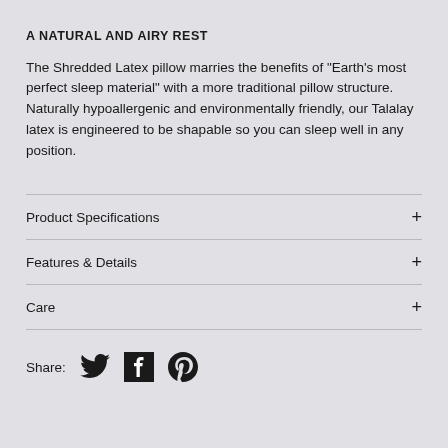A NATURAL AND AIRY REST
The Shredded Latex pillow marries the benefits of "Earth's most perfect sleep material" with a more traditional pillow structure. Naturally hypoallergenic and environmentally friendly, our Talalay latex is engineered to be shapable so you can sleep well in any position.
Product Specifications
Features & Details
Care
Share: